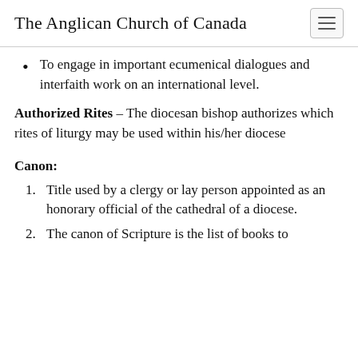The Anglican Church of Canada
To engage in important ecumenical dialogues and interfaith work on an international level.
Authorized Rites – The diocesan bishop authorizes which rites of liturgy may be used within his/her diocese
Canon:
Title used by a clergy or lay person appointed as an honorary official of the cathedral of a diocese.
The canon of Scripture is the list of books to